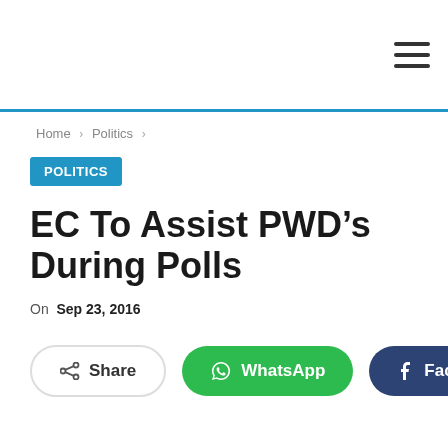Menu (hamburger icon)
Home > Politics >
POLITICS
EC To Assist PWD’s During Polls
On Sep 23, 2016
Share | WhatsApp | Facebook